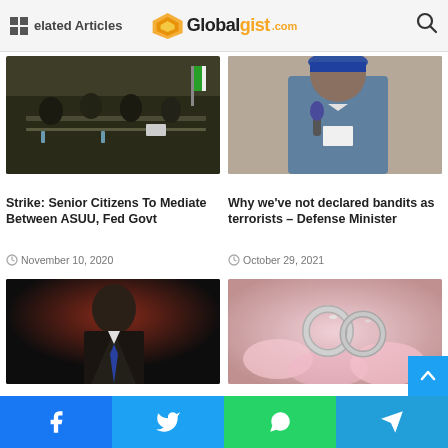Globalgist.com — Related Articles
[Figure (photo): People seated around a conference table in a meeting room, with a Nigerian flag in background]
Strike: Senior Citizens To Mediate Between ASUU, Fed Govt
November 10, 2020
[Figure (photo): A man in blue traditional Nigerian attire and cap speaking into a microphone]
Why we've not declared bandits as terrorists – Defense Minister
October 29, 2021
[Figure (photo): A man in a dark suit standing against a dark red/black background]
[Figure (photo): Two silver wedding rings on a pink/white background]
Facebook | Twitter | WhatsApp | Telegram